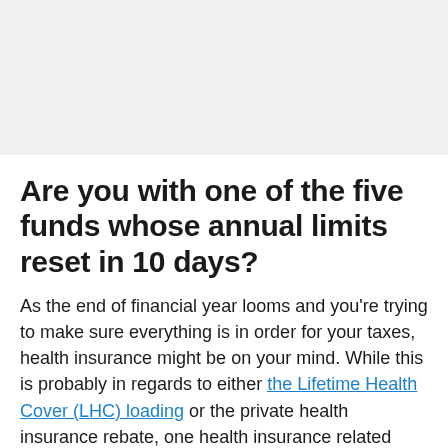[Figure (other): Light grey rectangular image placeholder at the top of the page]
Are you with one of the five funds whose annual limits reset in 10 days?
As the end of financial year looms and you're trying to make sure everything is in order for your taxes, health insurance might be on your mind. While this is probably in regards to either the Lifetime Health Cover (LHC) loading or the private health insurance rebate, one health insurance related item is often overlooked: